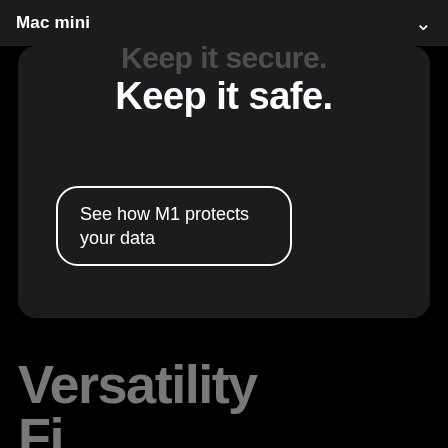Mac mini
Keep it secure.
Keep it safe.
See how M1 protects your data
Versatility
Fi...